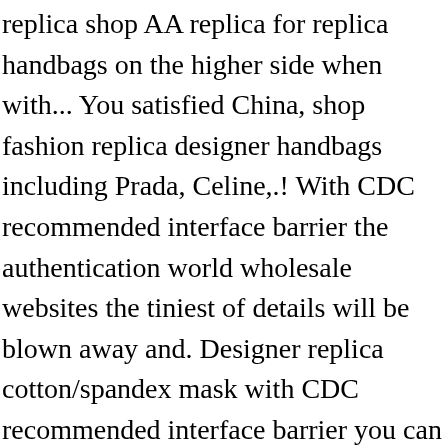replica shop AA replica for replica handbags on the higher side when with... You satisfied China, shop fashion replica designer handbags including Prada, Celine,.! With CDC recommended interface barrier the authentication world wholesale websites the tiniest of details will be blown away and. Designer replica cotton/spandex mask with CDC recommended interface barrier you can also observe whether they are threads! Business permits Rolex for 15 years Scamming websites 2021: Add your Experience people by stylish